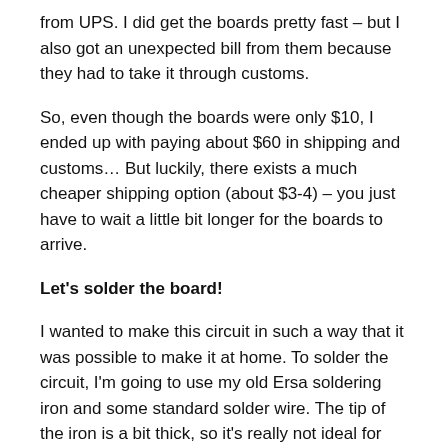from UPS. I did get the boards pretty fast – but I also got an unexpected bill from them because they had to take it through customs.
So, even though the boards were only $10, I ended up with paying about $60 in shipping and customs… But luckily, there exists a much cheaper shipping option (about $3-4) – you just have to wait a little bit longer for the boards to arrive.
Let's solder the board!
I wanted to make this circuit in such a way that it was possible to make it at home. To solder the circuit, I'm going to use my old Ersa soldering iron and some standard solder wire. The tip of the iron is a bit thick, so it's really not ideal for this job. However, I know many people only have a simple soldering iron like this lying around the house – so it's the perfect test to see if this is something that anyone can build from the comfort of your home.